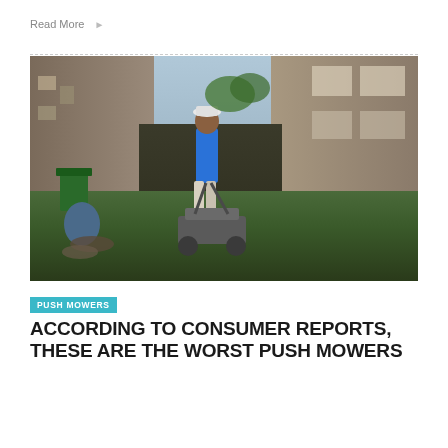Read More →
[Figure (photo): A man in a blue shirt and white cap pushing a lawn mower through a narrow grass alley between two brick buildings]
PUSH MOWERS
ACCORDING TO CONSUMER REPORTS, THESE ARE THE WORST PUSH MOWERS